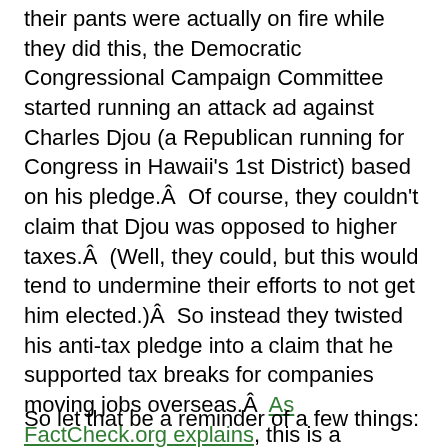their pants were actually on fire while they did this, the Democratic Congressional Campaign Committee started running an attack ad against Charles Djou (a Republican running for Congress in Hawaii's 1st District) based on his pledge.Â  Of course, they couldn't claim that Djou was opposed to higher taxes.Â  (Well, they could, but this would tend to undermine their efforts to not get him elected.)Â  So instead they twisted his anti-tax pledge into a claim that he supported tax breaks for companies moving jobs overseas.Â  As FactCheck.org explains, this is a complete misrepresentation of the anti-tax pledge that can only be explained by political sneakiness or crack addiction.Â  (Ok, I added the part about sneakiness and crack.Â  But FactCheck really did take the DCCC to task for the blatant misrepresentation of Djou, which, in this time of high unemployment, amounts to little more than a smear tactic.)
So let that be a reminder of a few things: